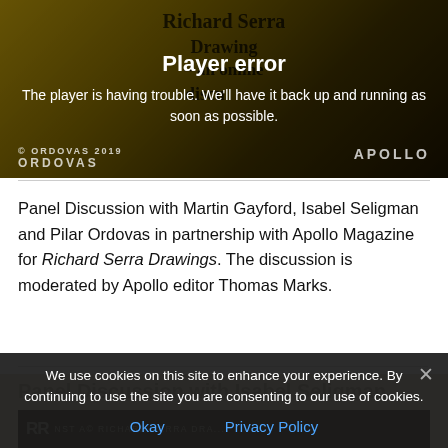[Figure (screenshot): Video player area with dark golden/brown gradient background showing partially visible text about Richard Serra Drawings – an online discussion. A player error overlay is shown with text 'Player error' and 'The player is having trouble. We'll have it back up and running as soon as possible.' Ordovas and Apollo logos visible at bottom.]
Panel Discussion with Martin Gayford, Isabel Seligman and Pilar Ordovas in partnership with Apollo Magazine for Richard Serra Drawings. The discussion is moderated by Apollo editor Thomas Marks.
We use cookies on this site to enhance your experience. By continuing to use the site you are consenting to our use of cookies.
Okay   Privacy Policy